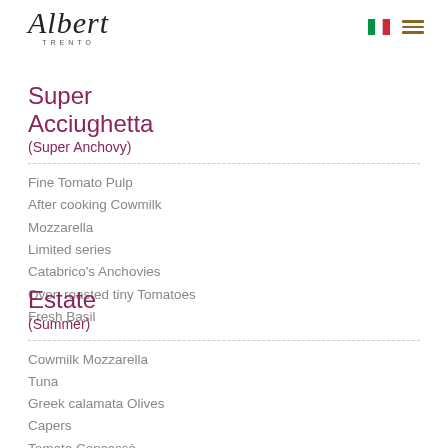Albert Trento
Super Acciughetta
(Super Anchovy)
Fine Tomato Pulp
After cooking Cowmilk
Mozzarella
Limited series
Catabrico's Anchovies
Oven roasted tiny Tomatoes
Fresh Basil
Estate
(Summer)
Cowmilk Mozzarella
Tuna
Greek calamata Olives
Capers
Tomato Concassè
Fresh Basil